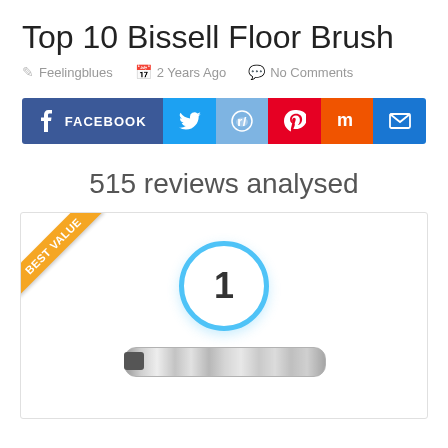Top 10 Bissell Floor Brush
Feelingblues  2 Years Ago  No Comments
[Figure (infographic): Social sharing buttons row: Facebook, Twitter, Reddit, Pinterest, Mix, Email]
515 reviews analysed
[Figure (infographic): Product card with 'Best Value' ribbon, rank circle showing '1', and a floor brush product image below]